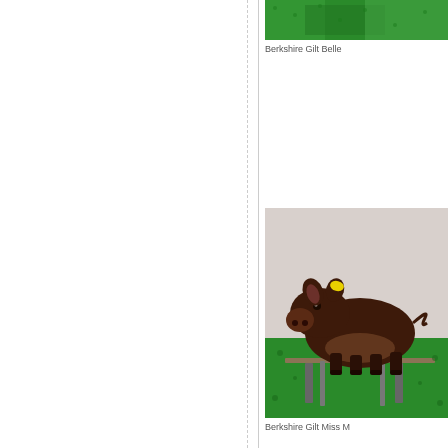[Figure (photo): Top portion of a Berkshire gilt photo showing green grass/turf background, partially cropped at top of page]
Berkshire Gilt Belle
[Figure (photo): Berkshire gilt pig standing on green artificial turf, dark brown/black coloring with a yellow tag, metal show stand visible underneath]
Berkshire Gilt Miss M